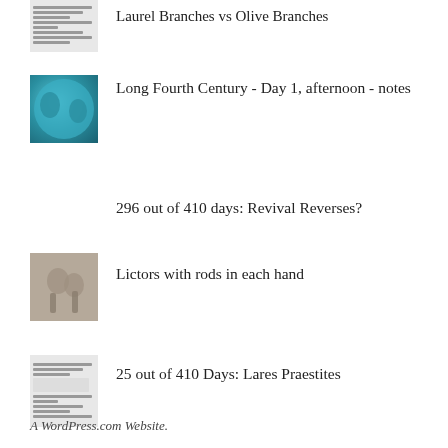Laurel Branches vs Olive Branches
Long Fourth Century - Day 1, afternoon - notes
296 out of 410 days: Revival Reverses?
Lictors with rods in each hand
25 out of 410 Days: Lares Praestites
A WordPress.com Website.